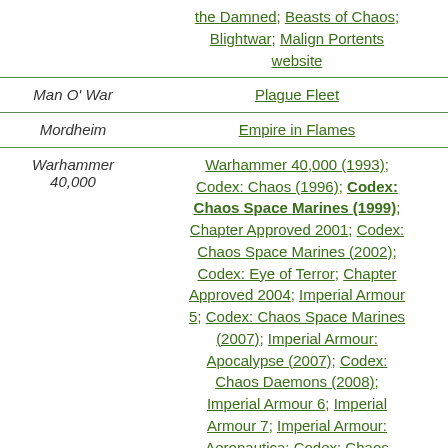| Game | Sources |
| --- | --- |
|  | the Damned; Beasts of Chaos; Blightwar; Malign Portents website |
| Man O' War | Plague Fleet |
| Mordheim | Empire in Flames |
| Warhammer 40,000 | Warhammer 40,000 (1993); Codex: Chaos (1996); Codex: Chaos Space Marines (1999); Chapter Approved 2001; Codex: Chaos Space Marines (2002); Codex: Eye of Terror; Chapter Approved 2004; Imperial Armour 5; Codex: Chaos Space Marines (2007); Imperial Armour: Apocalypse (2007); Codex: Chaos Daemons (2008); Imperial Armour 6; Imperial Armour 7; Imperial Armour: Aeronautica; Codex: Chaos Space Marines (2012); Codex: Dark Angels (2013); Codex: Chaos Daemons (2013); Stronghold Assault; Codex: Imperial Knights (2014)... |